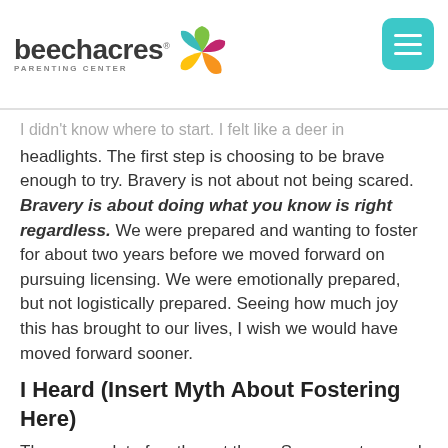beechacres PARENTING CENTER
I didn't know where to start. I felt like a deer in headlights. The first step is choosing to be brave enough to try. Bravery is not about not being scared. Bravery is about doing what you know is right regardless. We were prepared and wanting to foster for about two years before we moved forward on pursuing licensing. We were emotionally prepared, but not logistically prepared. Seeing how much joy this has brought to our lives, I wish we would have moved forward sooner.
I Heard (Insert Myth About Fostering Here)
There are a lot of myths out there. Some are true and some, well, not so much.
Myth 1: There are too many rules!
That's true. There are a lot of rules. Including a number